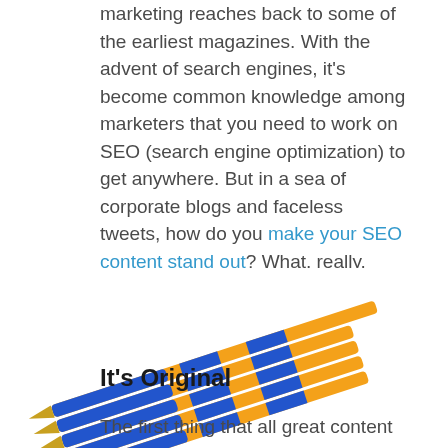marketing reaches back to some of the earliest magazines. With the advent of search engines, it's become common knowledge among marketers that you need to work on SEO (search engine optimization) to get anywhere. But in a sea of corporate blogs and faceless tweets, how do you make your SEO content stand out? What, really, makes content great?
[Figure (photo): Several blue and orange ballpoint pens arranged diagonally, with gold-colored tips pointing to the lower left, photographed against a white background.]
It's Original
The first thing that all great content has to